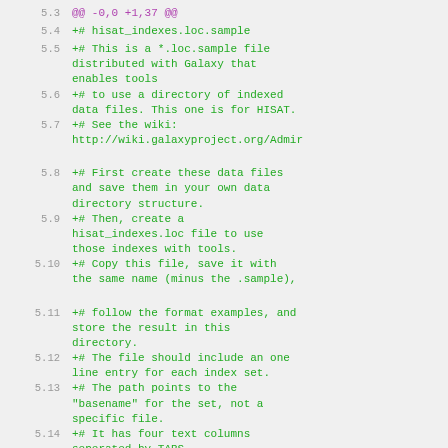5.3  @@ -0,0 +1,37 @@
5.4  +# hisat_indexes.loc.sample
5.5  +# This is a *.loc.sample file distributed with Galaxy that enables tools
5.6  +# to use a directory of indexed data files. This one is for HISAT.
5.7  +# See the wiki: http://wiki.galaxyproject.org/Admin
5.8  +# First create these data files and save them in your own data directory structure.
5.9  +# Then, create a hisat_indexes.loc file to use those indexes with tools.
5.10 +# Copy this file, save it with the same name (minus the .sample),
5.11 +# follow the format examples, and store the result in this directory.
5.12 +# The file should include an one line entry for each index set.
5.13 +# The path points to the "basename" for the set, not a specific file.
5.14 +# It has four text columns seperated by TABS.
5.15 +#